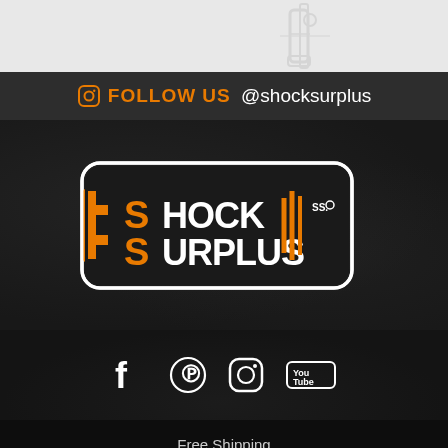[Figure (illustration): Light gray banner with faint outline illustration of a car part/shock absorber in the background]
FOLLOW US @shocksurplus
[Figure (logo): Shock Surplus logo on dark textured background with orange and white text, shock absorber graphic]
[Figure (infographic): Social media icons row: Facebook, Pinterest, Instagram, YouTube on dark background]
Free Shipping
Privacy